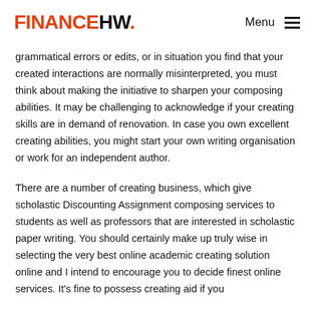FINANCEHW. Menu
grammatical errors or edits, or in situation you find that your created interactions are normally misinterpreted, you must think about making the initiative to sharpen your composing abilities. It may be challenging to acknowledge if your creating skills are in demand of renovation. In case you own excellent creating abilities, you might start your own writing organisation or work for an independent author.
There are a number of creating business, which give scholastic Discounting Assignment composing services to students as well as professors that are interested in scholastic paper writing. You should certainly make up truly wise in selecting the very best online academic creating solution online and I intend to encourage you to decide finest online services. It's fine to possess creating aid if you